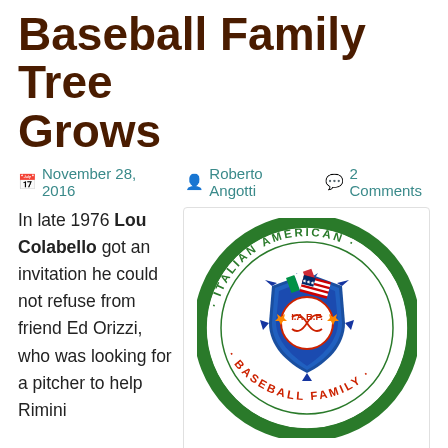Baseball Family Tree Grows
November 28, 2016   Roberto Angotti   2 Comments
In late 1976 Lou Colabello got an invitation he could not refuse from friend Ed Orizzi, who was looking for a pitcher to help Rimini
[Figure (logo): Italian American Baseball Family (I.A.B.F.) circular logo with green border, featuring a baseball shield with Italian and American flags, and orange stars, text reading ITALIAN AMERICAN BASEBALL FAMILY around the circle]